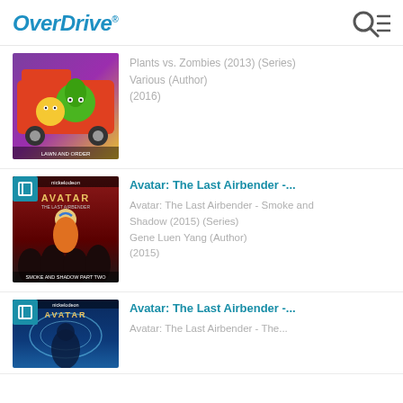OverDrive
[Figure (illustration): Plants vs. Zombies comic book cover with cartoon plant characters on a purple/yellow background]
Plants vs. Zombies (2013) (Series)
Various (Author)
(2016)
[Figure (illustration): Avatar: The Last Airbender - Smoke and Shadow book cover with animated characters on red/dark background, with teal book badge icon]
Avatar: The Last Airbender -...
Avatar: The Last Airbender - Smoke and Shadow (2015) (Series)
Gene Luen Yang (Author)
(2015)
[Figure (illustration): Avatar: The Last Airbender book cover with blue/dark background and animated characters, with teal book badge icon]
Avatar: The Last Airbender -...
Avatar: The Last Airbender - The...